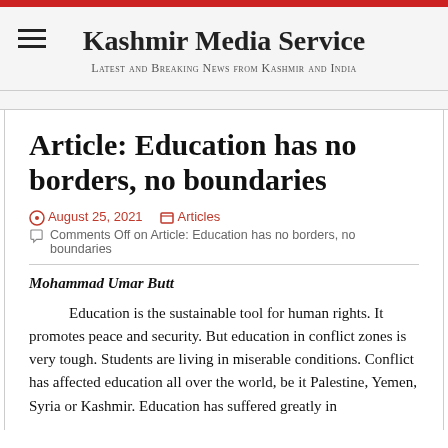Kashmir Media Service
Latest and Breaking News from Kashmir and India
Article: Education has no borders, no boundaries
August 25, 2021   Articles
Comments Off on Article: Education has no borders, no boundaries
Mohammad Umar Butt
Education is the sustainable tool for human rights. It promotes peace and security. But education in conflict zones is very tough. Students are living in miserable conditions. Conflict has affected education all over the world, be it Palestine, Yemen, Syria or Kashmir. Education has suffered greatly in